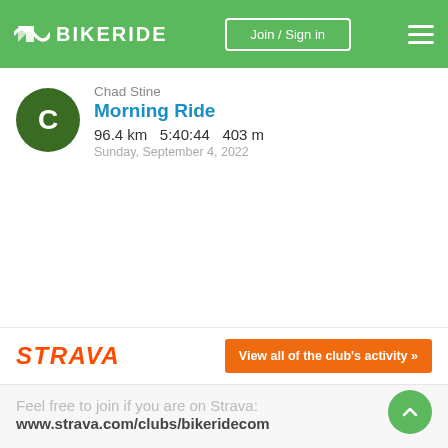BIKERIDE | Join / Sign in
[Figure (screenshot): User avatar circle with letter C on dark green background]
Chad Stine
Morning Ride
96.4 km   5:40:44   403 m
Sunday, September 4, 2022
[Figure (logo): STRAVA logo in orange]
View all of the club's activity »
Feel free to join if you are on Strava:
www.strava.com/clubs/bikeridecom